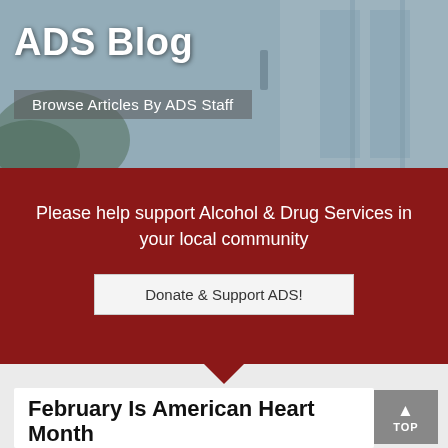[Figure (photo): Blurred office building interior background with blue-grey tones, used as header image for ADS Blog]
ADS Blog
Browse Articles By ADS Staff
Please help support Alcohol & Drug Services in your local community
Donate & Support ADS!
February Is American Heart Month